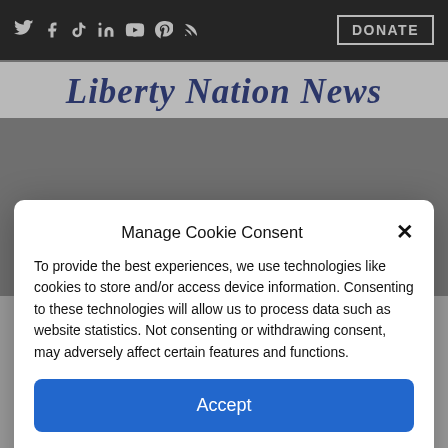Social icons: Twitter, Facebook, TikTok, LinkedIn, YouTube, Pinterest, RSS | DONATE
Liberty Nation News
touch with the average person's reality – have championed the left and pushed their more conservative colleagues to
Manage Cookie Consent
To provide the best experiences, we use technologies like cookies to store and/or access device information. Consenting to these technologies will allow us to process data such as website statistics. Not consenting or withdrawing consent, may adversely affect certain features and functions.
Accept
Cookie Policy  Privacy Policy